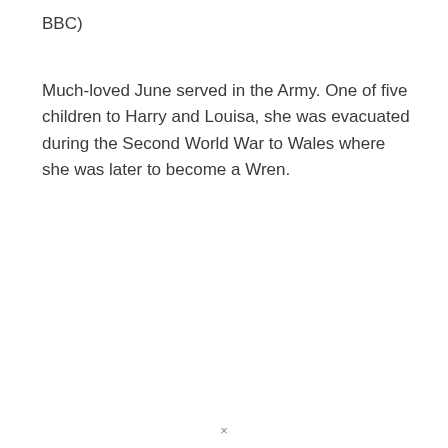BBC)
Much-loved June served in the Army. One of five children to Harry and Louisa, she was evacuated during the Second World War to Wales where she was later to become a Wren.